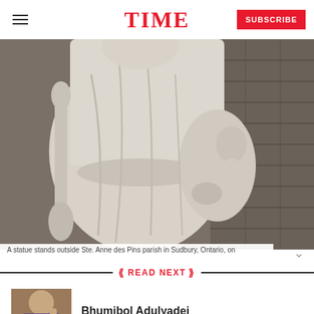TIME  SUBSCRIBE
[Figure (photo): A stone or marble statue of a robed figure holding a staff and a child, photographed in front of a brick wall background.]
A statue stands outside Ste. Anne des Pins parish in Sudbury, Ontario, on...
READ NEXT
[Figure (photo): Thumbnail photo of Bhumibol Adulyadej, showing an elderly man in ceremonial dress raising his hand.]
Bhumibol Adulyadej